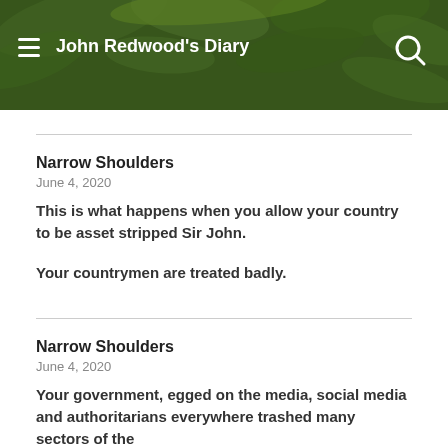John Redwood's Diary
Narrow Shoulders
June 4, 2020
This is what happens when you allow your country to be asset stripped Sir John.

Your countrymen are treated badly.
Narrow Shoulders
June 4, 2020
Your government, egged on the media, social media and authoritarians everywhere trashed many sectors of the